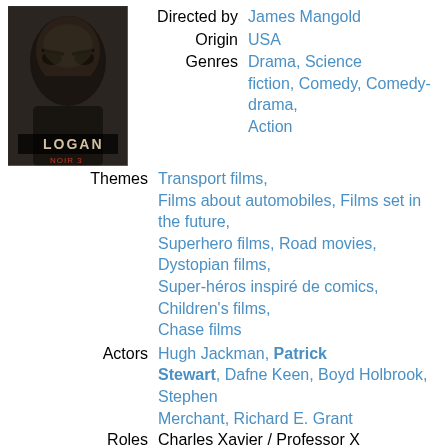[Figure (photo): Movie poster for LOGAN showing a close-up of a man's face in dark tones, with 'LOGAN' text and 'NOIR 3' visible]
| Directed by | James Mangold |
| Origin | USA |
| Genres | Drama, Science fiction, Comedy, Comedy-drama, Action |
| Themes | Transport films, Films about automobiles, Films set in the future, Superhero films, Road movies, Dystopian films, Super-héros inspiré de comics, Children's films, Chase films |
| Actors | Hugh Jackman, Patrick Stewart, Dafne Keen, Boyd Holbrook, Stephen Merchant, Richard E. Grant |
| Roles | Charles Xavier / Professor X |
| Rating | 80% ★★★★☆ |
The film begins with Tyler (Patrick Probst) and little brother Logan (Leo Howard) at the movie theater watching a brand new action film, that Tyler thinks was amazing, while Logan thinks it was bad and had no content. Then Logan tells Tyler about his plans to make a movie. Tyler says that he can make a movie. Then, while looking for actors and crew workers, he faces...